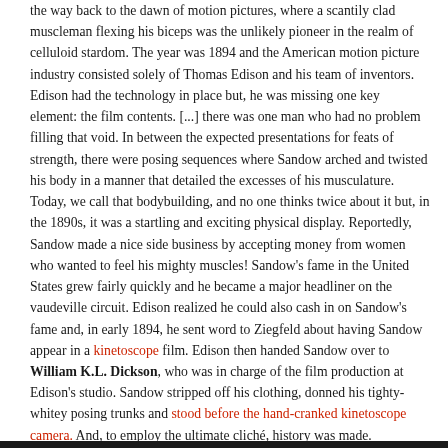the way back to the dawn of motion pictures, where a scantily clad muscleman flexing his biceps was the unlikely pioneer in the realm of celluloid stardom. The year was 1894 and the American motion picture industry consisted solely of Thomas Edison and his team of inventors. Edison had the technology in place but, he was missing one key element: the film contents. [...] there was one man who had no problem filling that void. In between the expected presentations for feats of strength, there were posing sequences where Sandow arched and twisted his body in a manner that detailed the excesses of his musculature. Today, we call that bodybuilding, and no one thinks twice about it but, in the 1890s, it was a startling and exciting physical display. Reportedly, Sandow made a nice side business by accepting money from women who wanted to feel his mighty muscles! Sandow's fame in the United States grew fairly quickly and he became a major headliner on the vaudeville circuit. Edison realized he could also cash in on Sandow's fame and, in early 1894, he sent word to Ziegfeld about having Sandow appear in a kinetoscope film. Edison then handed Sandow over to William K.L. Dickson, who was in charge of the film production at Edison's studio. Sandow stripped off his clothing, donned his tighty-whitey posing trunks and stood before the hand-cranked kinetoscope camera. And, to employ the ultimate cliché, history was made.